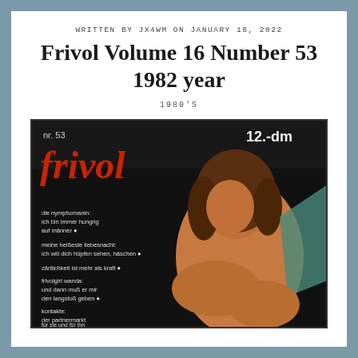WRITTEN BY JX4WM ON JANUARY 18, 2022
Frivol Volume 16 Number 53 1982 year
1980'S
[Figure (photo): Cover of Frivol magazine nr. 53, 1982. Dark background. Red stylized 'frivol' logo text. Price '12.-dm' top right. Text 'verkauf nur an erwachsene!' (sale to adults only). Several article teasers in German on the left side. Woman with brown hair posing on cover.]